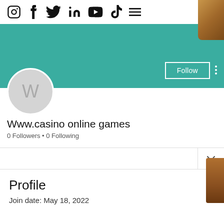Instagram • Facebook • Twitter • LinkedIn • YouTube • TikTok • Menu
[Figure (screenshot): Social media profile page screenshot showing teal banner, avatar with letter W, Follow button, profile name 'Www.casino online games', 0 Followers • 0 Following, Profile section with Join date: May 18, 2022]
Www.casino online games
0 Followers • 0 Following
Profile
Join date: May 18, 2022